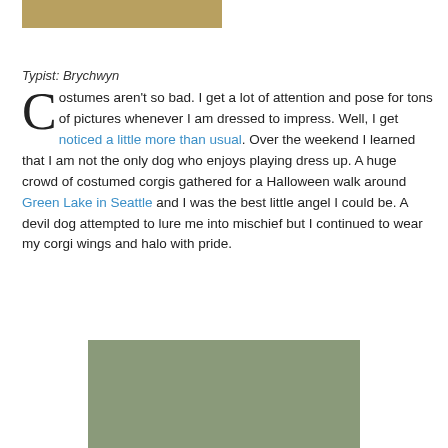[Figure (photo): Top partial photo showing autumn leaves, partially cropped at top of page]
Typist: Brychwyn
Costumes aren't so bad. I get a lot of attention and pose for tons of pictures whenever I am dressed to impress. Well, I get noticed a little more than usual. Over the weekend I learned that I am not the only dog who enjoys playing dress up. A huge crowd of costumed corgis gathered for a Halloween walk around Green Lake in Seattle and I was the best little angel I could be. A devil dog attempted to lure me into mischief but I continued to wear my corgi wings and halo with pride.
[Figure (photo): Photo of a crowd of people gathered outdoors in a park setting, trees visible in background, appears to be a Halloween dog walk event at Green Lake in Seattle]